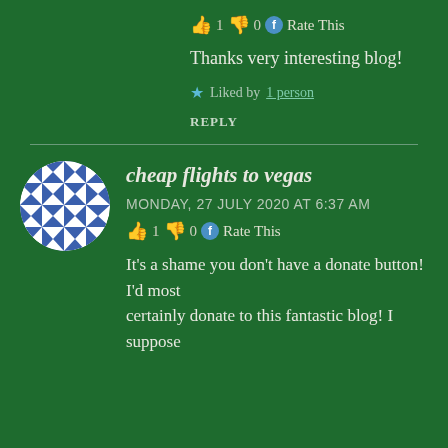👍 1 👎 0 🔵 Rate This
Thanks very interesting blog!
★ Liked by 1 person
REPLY
cheap flights to vegas
MONDAY, 27 JULY 2020 AT 6:37 AM
👍 1 👎 0 🔵 Rate This
It's a shame you don't have a donate button! I'd most certainly donate to this fantastic blog! I suppose